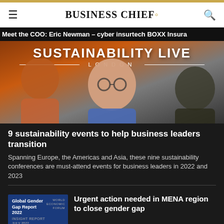BUSINESS CHIEF.
Meet the COO: Eric Newman – cyber insurtech BOXX Insura
[Figure (photo): Sustainability Live London event banner with two people in foreground, orange/warm background]
9 sustainability events to help business leaders transition
Spanning Europe, the Americas and Asia, these nine sustainability conferences are must-attend events for business leaders in 2022 and 2023
[Figure (photo): Global Gender Gap Report 2022 cover by World Economic Forum, dark blue background]
Urgent action needed in MENA region to close gender gap